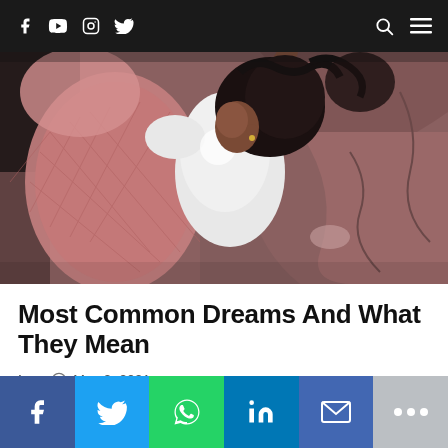Navigation bar with social icons (Facebook, YouTube, Instagram, Twitter) and search/menu icons
[Figure (photo): Overhead view of a young woman lying in bed with pink pillows and duvet, viewed from above]
Most Common Dreams And What They Mean
Inna  May 2, 2021
Social share bar: Facebook, Twitter, WhatsApp, LinkedIn, Email, More